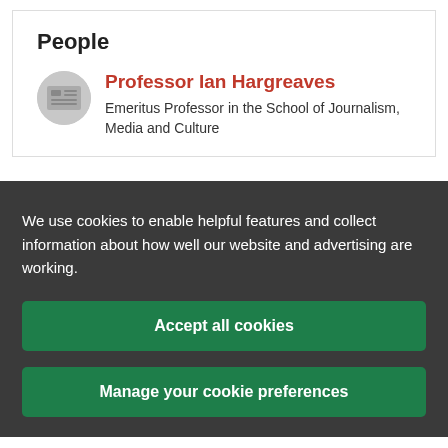People
Professor Ian Hargreaves
Emeritus Professor in the School of Journalism, Media and Culture
We use cookies to enable helpful features and collect information about how well our website and advertising are working.
Accept all cookies
Manage your cookie preferences